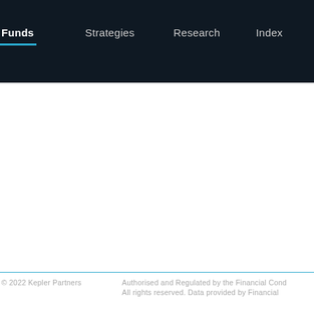Funds  Strategies  Research  Index
© 2022 Kepler Partners    Authorised and Regulated by the Financial Cond... All rights reserved. Data provided by Financial...